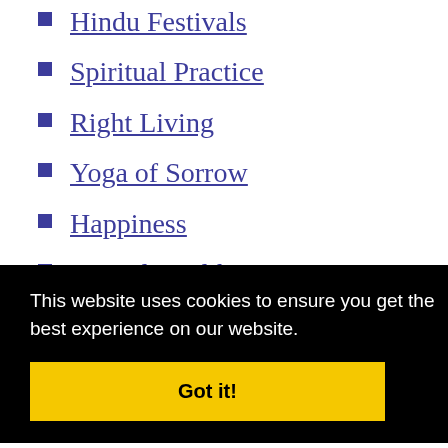Hindu Festivals
Spiritual Practice
Right Living
Yoga of Sorrow
Happiness
Mental Health
This website uses cookies to ensure you get the best experience on our website.
Got it!